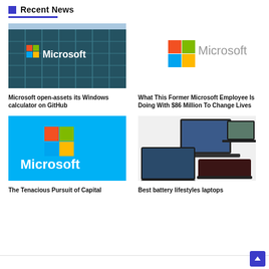Recent News
[Figure (photo): Microsoft building exterior with Microsoft logo sign on glass facade]
Microsoft open-assets its Windows calculator on GitHub
[Figure (logo): Microsoft logo - four colored squares with Microsoft text in grey]
What This Former Microsoft Employee Is Doing With $86 Million To Change Lives
[Figure (logo): Microsoft logo on blue background with white text]
The Tenacious Pursuit of Capital
[Figure (photo): Multiple laptops arranged showing various angles - best battery laptops]
Best battery lifestyles laptops